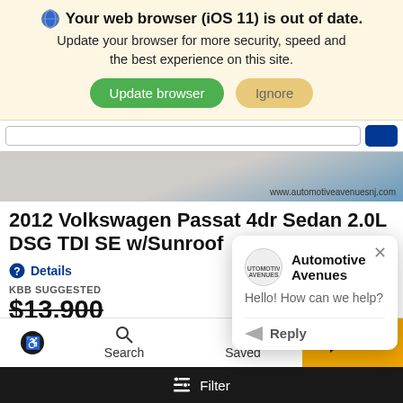Your web browser (iOS 11) is out of date. Update your browser for more security, speed and the best experience on this site. Update browser | Ignore
[Figure (screenshot): Partial car image strip with www.automotiveavenuesnj.com watermark]
2012 Volkswagen Passat 4dr Sedan 2.0L DSG TDI SE w/Sunroof
Details
KBB SUGGESTED
$13,900
[Figure (screenshot): Red bar with exclamation mark and letter L visible]
Automotive Avenues
Hello! How can we help?
Reply
Search | Saved | Chat
Filter